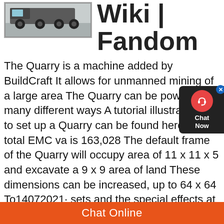[Figure (photo): Photograph of a large vehicle or machinery with multiple wheels, viewed from the side on a concrete surface]
Wiki | Fandom
The Quarry is a machine added by BuildCraft It allows for unmanned mining of a large area The Quarry can be powered in many different ways A tutorial illustrating ho to set up a Quarry can be found here The total EMC va is 163,028 The default frame of the Quarry will occupy area of 11 x 11 x 5 and excavate a 9 x 9 area of land These dimensions can be increased, up to 64 x 64 To14072021· sets and the special effects at opera nights in St Margarethen Quarry Come and peer over the set builders' shoulders and get an idea of the technology they use, and what goes on behind the scenes Group bookings and group price for 20+ people (tour guide can join for free), max 30 people Dates every performance (except premiere)Oper Turandot 2020Boulders, Steps, & Natural
Chat Now
Chat Online